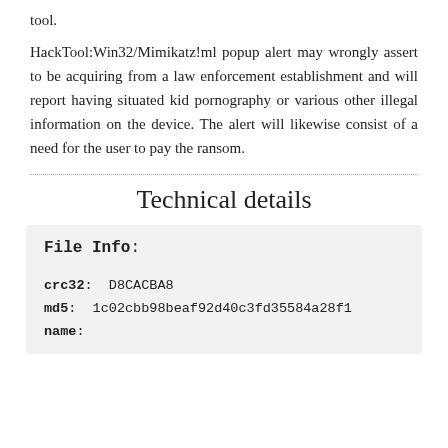tool.
HackTool:Win32/Mimikatz!ml popup alert may wrongly assert to be acquiring from a law enforcement establishment and will report having situated kid pornography or various other illegal information on the device. The alert will likewise consist of a need for the user to pay the ransom.
Technical details
File Info:
crc32:  D8CACBA8
md5:  1c02cbb98beaf92d40c3fd35584a28f1
name: